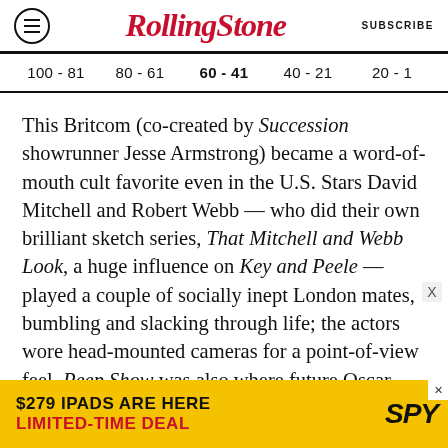RollingStone | SUBSCRIBE
100 - 81  80 - 61  60 - 41  40 - 21  20 - 1
This Britcom (co-created by Succession showrunner Jesse Armstrong) became a word-of-mouth cult favorite even in the U.S. Stars David Mitchell and Robert Webb — who did their own brilliant sketch series, That Mitchell and Webb Look, a huge influence on Key and Peele — played a couple of socially inept London mates, bumbling and slacking through life; the actors wore head-mounted cameras for a point-of-view feel. Peep Show was also where future Oscar
[Figure (other): Advertisement banner: $279 IPADS ARE HERE LIMITED-TIME DEAL - SPY logo on yellow background]